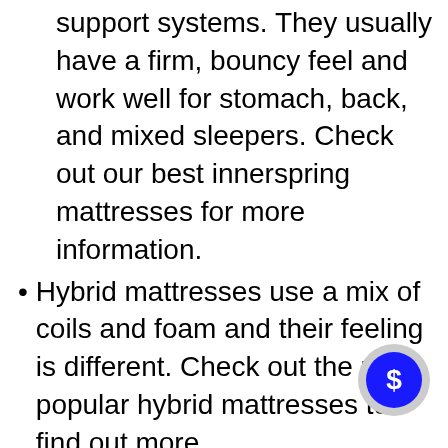support systems. They usually have a firm, bouncy feel and work well for stomach, back, and mixed sleepers. Check out our best innerspring mattresses for more information.
Hybrid mattresses use a mix of coils and foam and their feeling is different. Check out the most popular hybrid mattresses to find out more.
Foam mattresses don't include any coil support. They make use of layers of foam to cushion and support the sleeping person. Mattresses made of memory foam are well-known kind of all-foam mattress which offer a lot body-contouring and pressure re... Look over the top memory foam mattress to learn more about those...